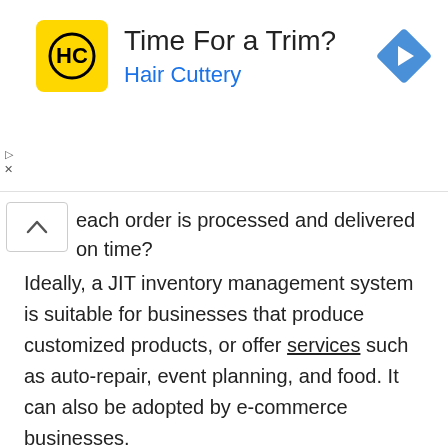[Figure (other): Advertisement banner for Hair Cuttery with logo, text 'Time For a Trim? Hair Cuttery', and navigation icon]
each order is processed and delivered on time?
Ideally, a JIT inventory management system is suitable for businesses that produce customized products, or offer services such as auto-repair, event planning, and food. It can also be adopted by e-commerce businesses.
3. First-In-First-Out (FIFO) and Last-In-First-Out (LIFO)
These inventory management methods sort